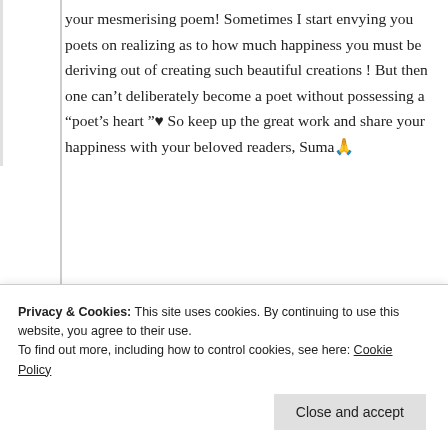your mesmerising poem! Sometimes I start envying you poets on realizing as to how much happiness you must be deriving out of creating such beautiful creations ! But then one can't deliberately become a poet without possessing a "poet's heart "♥ So keep up the great work and share your happiness with your beloved readers, Suma🙏
★ Liked by 2 people
Log in to Reply
Privacy & Cookies: This site uses cookies. By continuing to use this website, you agree to their use. To find out more, including how to control cookies, see here: Cookie Policy
Close and accept